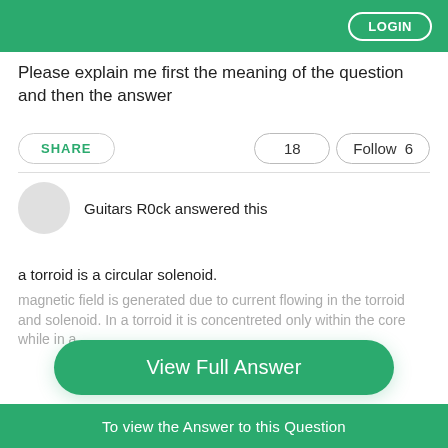LOGIN
Please explain me first the meaning of the question and then the answer
SHARE  18  Follow 6
Guitars R0ck answered this
a torroid is a circular solenoid.
magnetic field is generated due to current flowing in the torroid and solenoid. In a torroid it is concentreted only within the core while in a
View Full Answer
To view the Answer to this Question